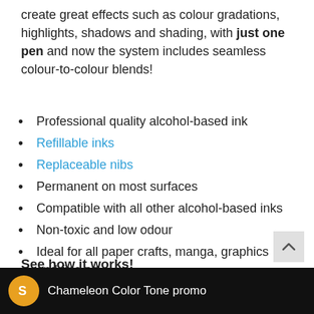create great effects such as colour gradations, highlights, shadows and shading, with just one pen and now the system includes seamless colour-to-colour blends!
Professional quality alcohol-based ink
Refillable inks
Replaceable nibs
Permanent on most surfaces
Compatible with all other alcohol-based inks
Non-toxic and low odour
Ideal for all paper crafts, manga, graphics and fine art
Includes instructions and ideas guide
See how it works!
[Figure (screenshot): Video thumbnail bar with orange circle logo showing 'S' and text 'Chameleon Color Tone promo' on black background]